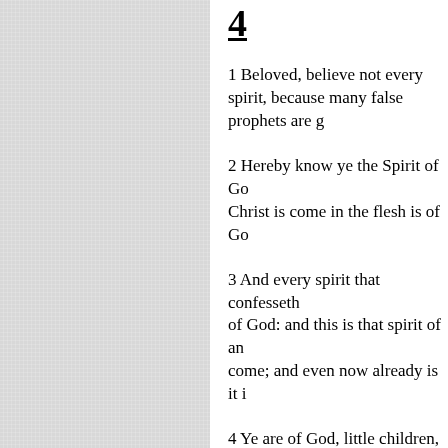4
1 Beloved, believe not every spirit, because many false prophets are g[one out]
2 Hereby know ye the Spirit of Go[d]: Christ is come in the flesh is of Go[d]
3 And every spirit that confesseth [not] of God: and this is that spirit of an[tichrist] come; and even now already is it i[n the world]
4 Ye are of God, little children, an[d] that is in you, than he that is in the[world]